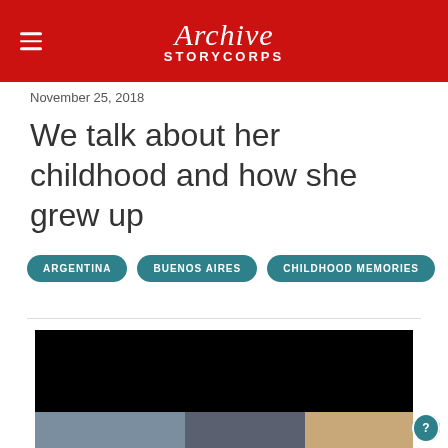Archive StoryCorps
November 25, 2018
We talk about her childhood and how she grew up
ARGENTINA
BUENOS AIRES
CHILDHOOD MEMORIES
[Figure (photo): Video thumbnail showing black panel above and photo strip at bottom with partial view of figures and picture frames]